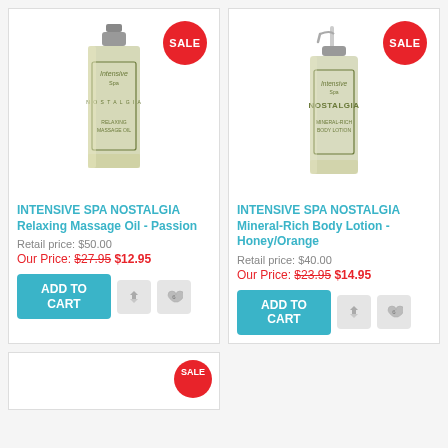[Figure (photo): INTENSIVE SPA NOSTALGIA Relaxing Massage Oil - Passion product bottle with SALE badge]
INTENSIVE SPA NOSTALGIA Relaxing Massage Oil - Passion
Retail price: $50.00
Our Price: $27.95 $12.95
[Figure (photo): INTENSIVE SPA NOSTALGIA Mineral-Rich Body Lotion - Honey/Orange pump bottle with SALE badge]
INTENSIVE SPA NOSTALGIA Mineral-Rich Body Lotion - Honey/Orange
Retail price: $40.00
Our Price: $23.95 $14.95
[Figure (photo): Third product card partially visible at bottom with SALE badge]